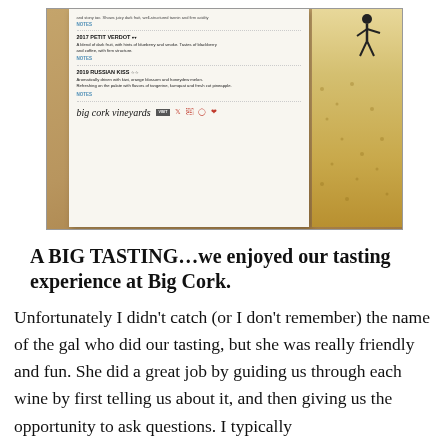[Figure (photo): A photo of a Big Cork Vineyards wine tasting menu/card on a wooden table. The card shows wine listings including 2017 Petit Verdot and 2019 Russian Kiss, with a man standing on a cork graphic on the right side. The card footer shows the Big Cork Vineyards script logo and social media icons.]
A BIG TASTING…we enjoyed our tasting experience at Big Cork.
Unfortunately I didn't catch (or I don't remember) the name of the gal who did our tasting, but she was really friendly and fun. She did a great job by guiding us through each wine by first telling us about it, and then giving us the opportunity to ask questions. I typically